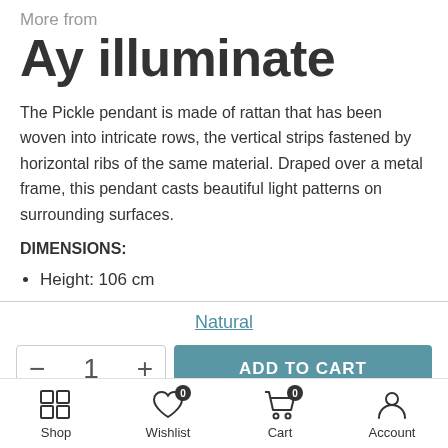More from
Ay illuminate
The Pickle pendant is made of rattan that has been woven into intricate rows, the vertical strips fastened by horizontal ribs of the same material. Draped over a metal frame, this pendant casts beautiful light patterns on surrounding surfaces.
DIMENSIONS:
Height: 106 cm
Natural
ADD TO CART
Shop  Wishlist  Cart  Account